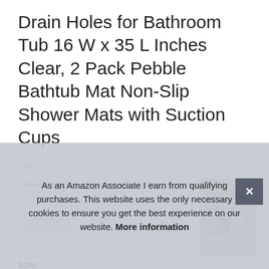Drain Holes for Bathroom Tub 16 W x 35 L Inches Clear, 2 Pack Pebble Bathtub Mat Non-Slip Shower Mats with Suction Cups
#ad
[Figure (photo): Row of four product thumbnails showing pebble bath mats with labels: RECTANGLE SIZE & BEST FIT, NON SLIP MORE USE, NON-SKID SUCTION CUPS, and a photo of a woman bathing a baby.]
SOM
sha
Draining design: there are spaces between the 'faux rocks'
As an Amazon Associate I earn from qualifying purchases. This website uses the only necessary cookies to ensure you get the best experience on our website. More information